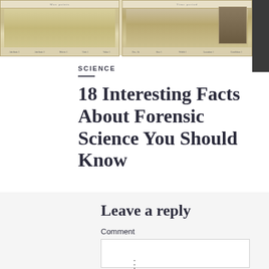[Figure (photo): Scanned archival forensic science document images — two yellowed panels with form fields and a portrait photo on the right panel]
SCIENCE
18 Interesting Facts About Forensic Science You Should Know
Leave a reply
Comment